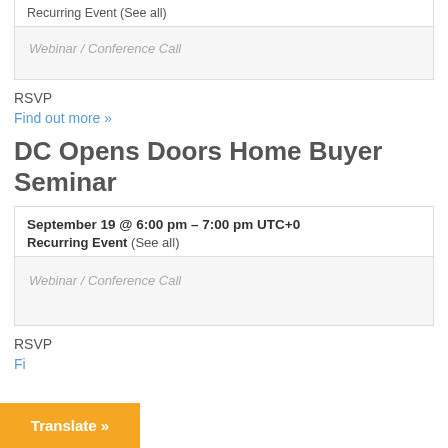Recurring Event (See all)
Webinar / Conference Call
RSVP
Find out more »
DC Opens Doors Home Buyer Seminar
September 19 @ 6:00 pm - 7:00 pm UTC+0
Recurring Event (See all)
Webinar / Conference Call
RSVP
Find out more »
Translate »